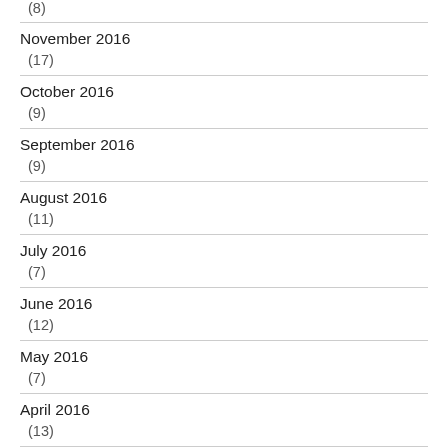(8)
November 2016
(17)
October 2016
(9)
September 2016
(9)
August 2016
(11)
July 2016
(7)
June 2016
(12)
May 2016
(7)
April 2016
(13)